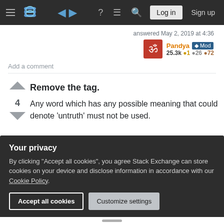Stack Exchange navigation bar with hamburger menu, logo, help icon, chat icon, search icon, Log in button, Sign up button
answered May 2, 2019 at 4:36
Pandya Mod 25.3k ● 1 ● 26 ● 72
Add a comment
Remove the tag.
Any word which has any possible meaning that could denote 'untruth' must not be used.
Your privacy
By clicking "Accept all cookies", you agree Stack Exchange can store cookies on your device and disclose information in accordance with our Cookie Policy.
Accept all cookies
Customize settings